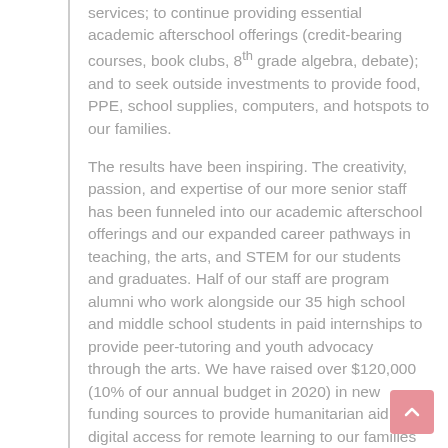services; to continue providing essential academic afterschool offerings (credit-bearing courses, book clubs, 8th grade algebra, debate); and to seek outside investments to provide food, PPE, school supplies, computers, and hotspots to our families.
The results have been inspiring. The creativity, passion, and expertise of our more senior staff has been funneled into our academic afterschool offerings and our expanded career pathways in teaching, the arts, and STEM for our students and graduates. Half of our staff are program alumni who work alongside our 35 high school and middle school students in paid internships to provide peer-tutoring and youth advocacy through the arts. We have raised over $120,000 (10% of our annual budget in 2020) in new funding sources to provide humanitarian aid and digital access for remote learning to our families in Mott Haven.
There is so much more to do in 2021.